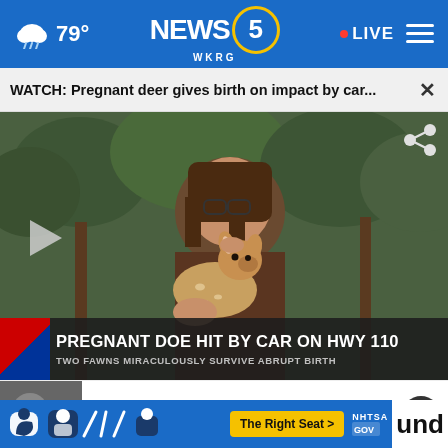79° NEWS 5 WKRG • LIVE
WATCH: Pregnant deer gives birth on impact by car...
[Figure (photo): Woman in brown shirt holding and nuzzling a young fawn deer outdoors near trees. Lower third overlay reads: PREGNANT DOE HIT BY CAR ON HWY 110 / TWO FAWNS MIRACULOUSLY SURVIVE ABRUPT BIRTH]
PREGNANT DOE HIT BY CAR ON HWY 110 / TWO FAWNS MIRACULOUSLY SURVIVE ABRUPT BIRTH
bringing inspiration ...
[Figure (infographic): NHTSA car seat safety advertisement banner with child seat icons and The Right Seat > button]